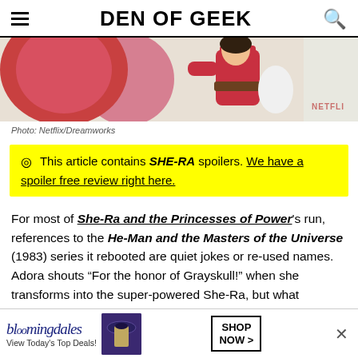DEN OF GEEK
[Figure (illustration): Animated cartoon characters from She-Ra and the Princesses of Power, showing colorful characters in red and pink tones with a Netflix/Dreamworks watermark]
Photo: Netflix/Dreamworks
This article contains SHE-RA spoilers. We have a spoiler free review right here.
For most of She-Ra and the Princesses of Power's run, references to the He-Man and the Masters of the Universe (1983) series it rebooted are quiet jokes or re-used names. Adora shouts “For the honor of Grayskull!” when she transforms into the super-powered She-Ra, but what
[Figure (screenshot): Bloomingdales advertisement banner: View Today's Top Deals! SHOP NOW >]